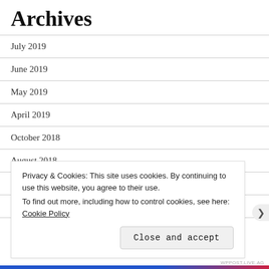Archives
July 2019
June 2019
May 2019
April 2019
October 2018
August 2018
July 2018
May 2018
Privacy & Cookies: This site uses cookies. By continuing to use this website, you agree to their use.
To find out more, including how to control cookies, see here: Cookie Policy
Close and accept